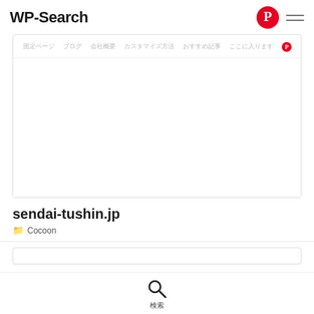WP-Search
[Figure (screenshot): Navigation bar with Japanese menu items and Pinterest icon inside a card box. Items: 固定ページ, ブログ, 会社概要, カスタマイズ方法, おすすめ記事, ここに入ります and a Pinterest icon.]
sendai-tushin.jp
Cocoon
[Figure (screenshot): Bottom card box, partially visible.]
検索